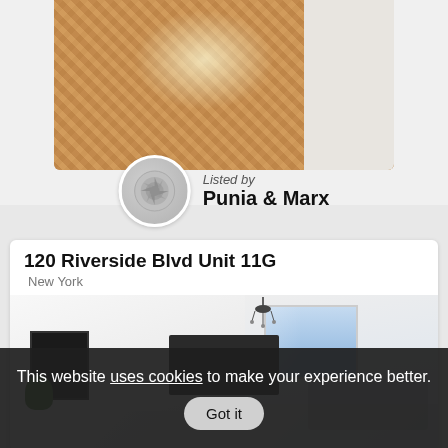[Figure (photo): Top portion of a property listing showing a parquet hardwood floor and white wall interior photo]
Listed by
Punia & Marx
120 Riverside Blvd Unit 11G
New York
[Figure (photo): Interior photo of a modern living room with white walls, chandelier, TV, artwork, and city view window]
This website uses cookies to make your experience better. Got it